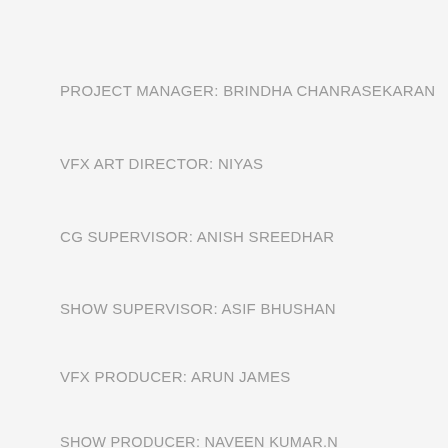PROJECT MANAGER: BRINDHA CHANRASEKARAN
VFX ART DIRECTOR: NIYAS
CG SUPERVISOR: ANISH SREEDHAR
SHOW SUPERVISOR: ASIF BHUSHAN
VFX PRODUCER: ARUN JAMES
SHOW PRODUCER: NAVEEN KUMAR.N
LIGHTING SUPERVISOR: MURUGAN L